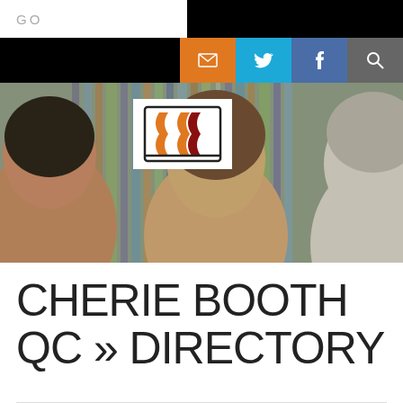GO
[Figure (screenshot): Website header with social media icon buttons: email (orange), Twitter (blue), Facebook (blue-grey), search (grey)]
[Figure (photo): Hero banner photo showing three people (students and teacher) in a library setting with bookshelves in background. A logo with stylized curly brace shapes in orange, black, white and red colours is overlaid on the left.]
CHERIE BOOTH QC » DIRECTORY